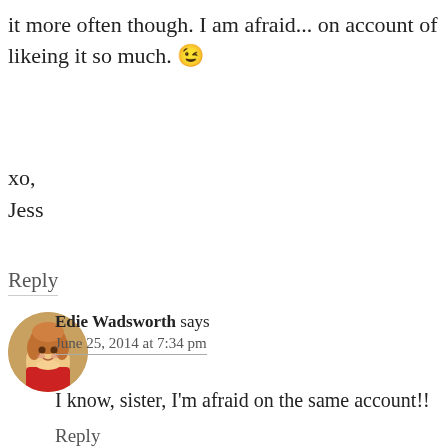it more often though. I am afraid... on account of likeing it so much. 😉
xo,
Jess
Reply
Edie Wadsworth says
June 25, 2014 at 7:34 pm
I know, sister, I'm afraid on the same account!!
Reply